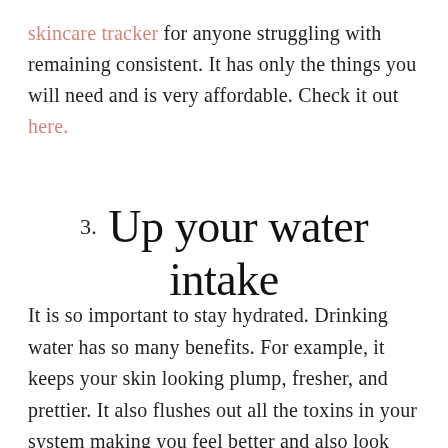skincare tracker for anyone struggling with remaining consistent. It has only the things you will need and is very affordable. Check it out here.
3. Up your water intake
It is so important to stay hydrated. Drinking water has so many benefits. For example, it keeps your skin looking plump, fresher, and prettier. It also flushes out all the toxins in your system making you feel better and also look better.